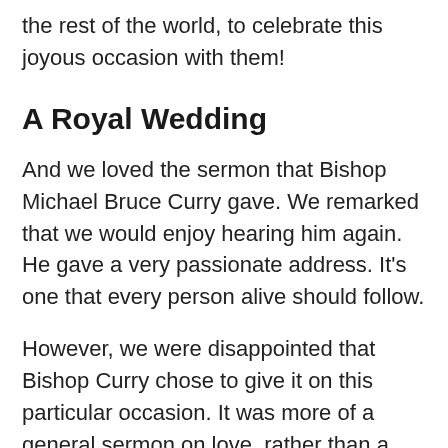the rest of the world, to celebrate this joyous occasion with them!
A Royal Wedding
And we loved the sermon that Bishop Michael Bruce Curry gave. We remarked that we would enjoy hearing him again. He gave a very passionate address. It's one that every person alive should follow.
However, we were disappointed that Bishop Curry chose to give it on this particular occasion. It was more of a general sermon on love, rather than a message centering on the specifics of marital love. The Bishop didn't make it personal to Prince Harry and Meghan and the journey their love would take them after marrying.